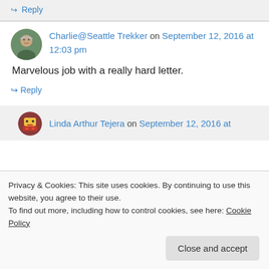↪ Reply
Charlie@Seattle Trekker on September 12, 2016 at 12:03 pm
Marvelous job with a really hard letter.
↪ Reply
Linda Arthur Tejera on September 12, 2016 at
Privacy & Cookies: This site uses cookies. By continuing to use this website, you agree to their use.
To find out more, including how to control cookies, see here: Cookie Policy
Close and accept